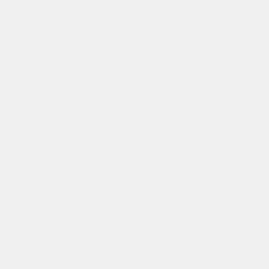fix it] - (Cameron's theory is that ctrl+Z's processes were laying around everywhere and were occupying nfs file system attention that shouldn't have been)
** https://logbooks.jlab.org/entry/3708226, https://logbooks.jlab.org/entry/3708217, https://logbooks.jlab.org/entry/3708222
* Caryn is working on pedestal studies